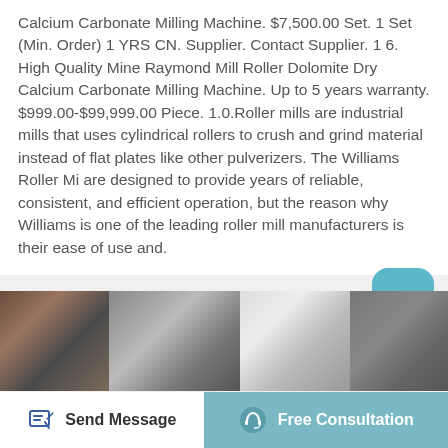Calcium Carbonate Milling Machine. $7,500.00 Set. 1 Set (Min. Order) 1 YRS CN. Supplier. Contact Supplier. 1 6. High Quality Mine Raymond Mill Roller Dolomite Dry Calcium Carbonate Milling Machine. Up to 5 years warranty. $999.00-$99,999.00 Piece. 1.0.Roller mills are industrial mills that uses cylindrical rollers to crush and grind material instead of flat plates like other pulverizers. The Williams Roller Mi are designed to provide years of reliable, consistent, and efficient operation, but the reason why Williams is one of the leading roller mill manufacturers is their ease of use and.
[Figure (photo): Industrial machinery / milling equipment photo strip showing machinery interior with metal framework and equipment]
Send Message
Free Consultation